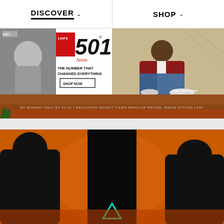DISCOVER  SHOP
[Figure (screenshot): Levi's 501 Jeans advertisement banner - black and white photo of a person with Levi's 501 Jeans logo and text 'THE NUMBER THAT CHANGED EVERYTHING' with 'SHOP NOW' button]
[Figure (photo): Person wearing Levi's jeans lounging on white surface, featuring ASAP Nast in denim outfit]
[Figure (photo): Wide desert/red earth landscape banner with text overlay]
[Figure (photo): Dark silhouettes against orange/amber background with glowing teal triangle symbol]